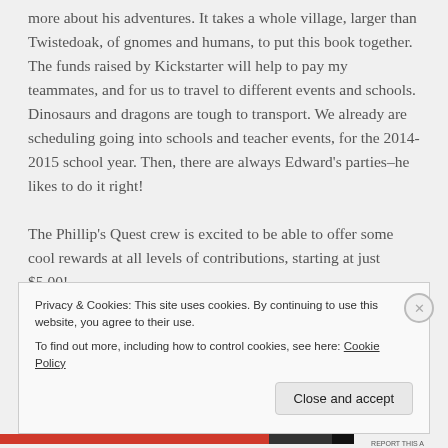more about his adventures. It takes a whole village, larger than Twistedoak, of gnomes and humans, to put this book together. The funds raised by Kickstarter will help to pay my teammates, and for us to travel to different events and schools. Dinosaurs and dragons are tough to transport. We already are scheduling going into schools and teacher events, for the 2014-2015 school year. Then, there are always Edward's parties–he likes to do it right!

The Phillip's Quest crew is excited to be able to offer some cool rewards at all levels of contributions, starting at just $5.00!
Privacy & Cookies: This site uses cookies. By continuing to use this website, you agree to their use.
To find out more, including how to control cookies, see here: Cookie Policy
Close and accept